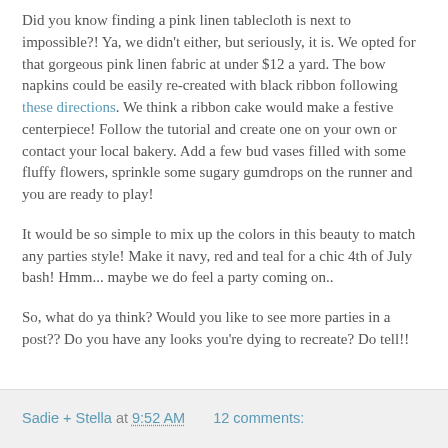Did you know finding a pink linen tablecloth is next to impossible?! Ya, we didn't either, but seriously, it is. We opted for that gorgeous pink linen fabric at under $12 a yard. The bow napkins could be easily re-created with black ribbon following these directions. We think a ribbon cake would make a festive centerpiece! Follow the tutorial and create one on your own or contact your local bakery. Add a few bud vases filled with some fluffy flowers, sprinkle some sugary gumdrops on the runner and you are ready to play!
It would be so simple to mix up the colors in this beauty to match any parties style! Make it navy, red and teal for a chic 4th of July bash! Hmm... maybe we do feel a party coming on..
So, what do ya think? Would you like to see more parties in a post?? Do you have any looks you're dying to recreate? Do tell!!
Sadie + Stella at 9:52 AM   12 comments: